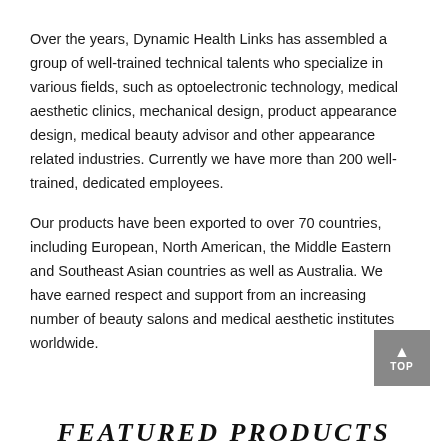Over the years, Dynamic Health Links has assembled a group of well-trained technical talents who specialize in various fields, such as optoelectronic technology, medical aesthetic clinics, mechanical design, product appearance design, medical beauty advisor and other appearance related industries. Currently we have more than 200 well-trained, dedicated employees.
Our products have been exported to over 70 countries, including European, North American, the Middle Eastern and Southeast Asian countries as well as Australia. We have earned respect and support from an increasing number of beauty salons and medical aesthetic institutes worldwide.
[Figure (other): A grey 'TOP' button with an upward arrow, positioned at the bottom right of the page.]
FEATURED PRODUCTS